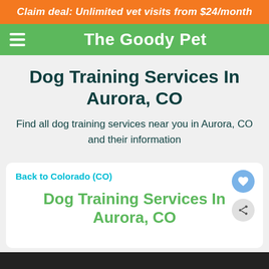Claim deal: Unlimited vet visits from $24/month
The Goody Pet
Dog Training Services In Aurora, CO
Find all dog training services near you in Aurora, CO and their information
Back to Colorado (CO)
Dog Training Services In Aurora, CO